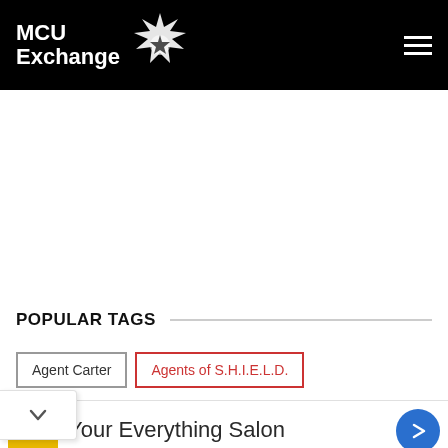MCU Exchange
POPULAR TAGS
Agent Carter
Agents of S.H.I.E.L.D.
Your Everything Salon